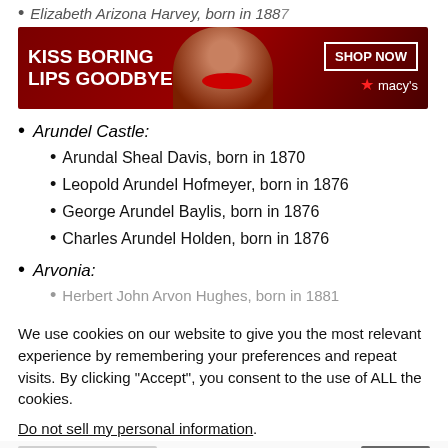Elizabeth Arizona Harvey, born in 1887
[Figure (photo): Macy's advertisement banner: 'KISS BORING LIPS GOODBYE' with a woman's face and red lips, SHOP NOW button and Macy's star logo on dark red background]
Arundel Castle:
Arundal Sheal Davis, born in 1870
Leopold Arundel Hofmeyer, born in 1876
George Arundel Baylis, born in 1876
Charles Arundel Holden, born in 1876
Arvonia:
Herbert John Arvon Hughes, born in 1881
We use cookies on our website to give you the most relevant experience by remembering your preferences and repeat visits. By clicking “Accept”, you consent to the use of ALL the cookies.
Do not sell my personal information.
[Figure (photo): Victoria's Secret advertisement banner with a woman's face, VS logo, 'SHOP THE COLLECTION' text, and 'SHOP NOW' button on pink background. CLOSE button in grey.]